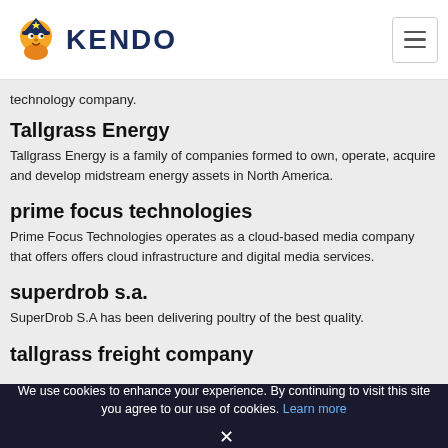KENDO
technology company.
Tallgrass Energy
Tallgrass Energy is a family of companies formed to own, operate, acquire and develop midstream energy assets in North America.
prime focus technologies
Prime Focus Technologies operates as a cloud-based media company that offers offers cloud infrastructure and digital media services.
superdrob s.a.
SuperDrob S.A has been delivering poultry of the best quality.
tallgrass freight company
We use cookies to enhance your experience. By continuing to visit this site you agree to our use of cookies. Learn more